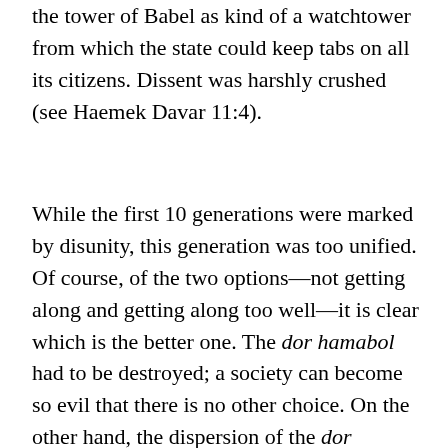the tower of Babel as kind of a watchtower from which the state could keep tabs on all its citizens. Dissent was harshly crushed (see Haemek Davar 11:4).
While the first 10 generations were marked by disunity, this generation was too unified. Of course, of the two options—not getting along and getting along too well—it is clear which is the better one. The dor hamabol had to be destroyed; a society can become so evil that there is no other choice. On the other hand, the dispersion of the dor haflaga is not necessarily a punishment, but rather G-d's way of “tweaking” society, to enable man to make better choices. While differing languages can create barriers, diversity of language, culture, people,